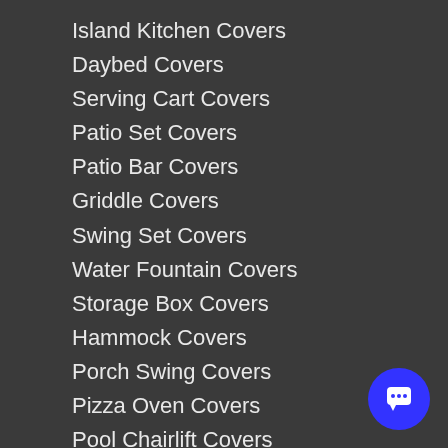Island Kitchen Covers
Daybed Covers
Serving Cart Covers
Patio Set Covers
Patio Bar Covers
Griddle Covers
Swing Set Covers
Water Fountain Covers
Storage Box Covers
Hammock Covers
Porch Swing Covers
Pizza Oven Covers
Pool Chairlift Covers
Hanging Chair Covers
Egg Chair Covers
Heater Covers
Outdoor Cabinet Covers